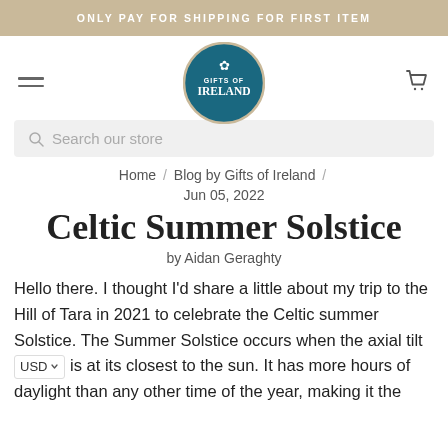ONLY PAY FOR SHIPPING FOR FIRST ITEM
[Figure (logo): Gifts of Ireland circular logo with shamrock, teal background, and decorative border]
Search our store
Home / Blog by Gifts of Ireland /
Jun 05, 2022
Celtic Summer Solstice
by Aidan Geraghty
Hello there. I thought I'd share a little about my trip to the Hill of Tara in 2021 to celebrate the Celtic summer Solstice. The Summer Solstice occurs when the axial tilt of the earth is at its closest to the sun. It has more hours of daylight than any other time of the year, making it the